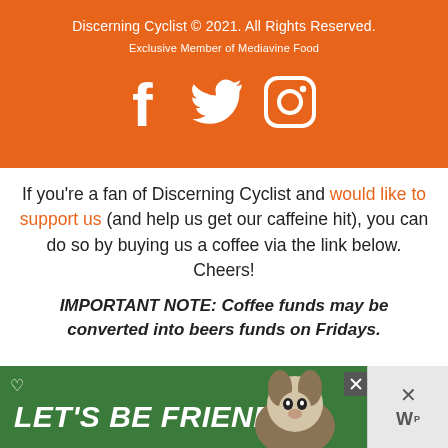Discerning Cyclist © 2021. All Rights Reserved.
Exclusive Member of Mediavine Food
[Figure (illustration): Social media icons: Facebook (f), Twitter (bird), Instagram (camera circle) in white on orange background]
If you're a fan of Discerning Cyclist and would like to support us (and help us get our caffeine hit), you can do so by buying us a coffee via the link below. Cheers!
IMPORTANT NOTE: Coffee funds may be converted into beers funds on Fridays.
[Figure (screenshot): Advertisement banner with green background showing a husky dog and text LET'S BE FRIENDS with close buttons]